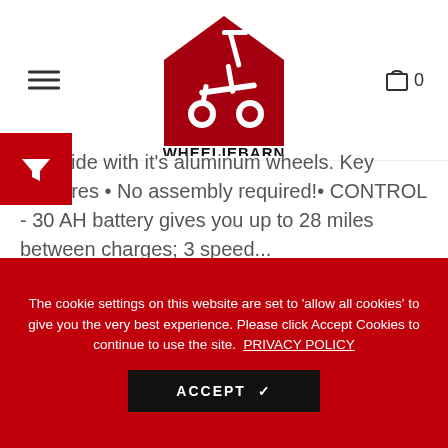[Figure (logo): Wheeliebarn logo: red barn shape with white scooter silhouette and text WHEELIEBARN below]
your ride with it's aluminum wheels. Key Features • No assembly required!• CONTROL - 30 AH battery gives you up to 28 miles between charges; 3 speed...
Price : $1,989.00
PLEASE HURRY ONLY 50 In Stock
The cookie settings on this website are set to 'allow all cookies' to give you the very best experience. Please click Accept Cookies to continue to use the site. PRIVACY POLICY
ACCEPT ✓